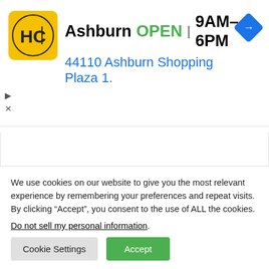[Figure (screenshot): Ad banner showing HC (Home Care) logo in yellow square, store name Ashburn, OPEN status in green, hours 9AM-6PM, address 44110 Ashburn Shopping Plaza 1., and a blue navigation diamond icon]
There are lies, damn lies, and then there is Home
We use cookies on our website to give you the most relevant experience by remembering your preferences and repeat visits. By clicking “Accept”, you consent to the use of ALL the cookies.
Do not sell my personal information.